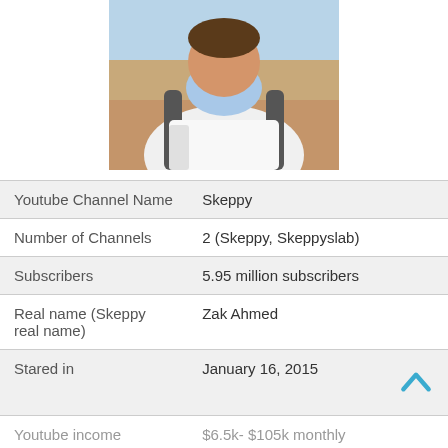[Figure (photo): Profile photo of a man wearing a white t-shirt and light blue neck gaiter/face covering, with a backpack, outdoors in a sandy/rocky environment]
| Youtube Channel Name | Skeppy |
| Number of Channels | 2 (Skeppy, Skeppyslab) |
| Subscribers | 5.95 million subscribers |
| Real name (Skeppy real name) | Zak Ahmed |
| Stared in | January 16, 2015 |
| Youtube income | $6.5k- $105k monthly |